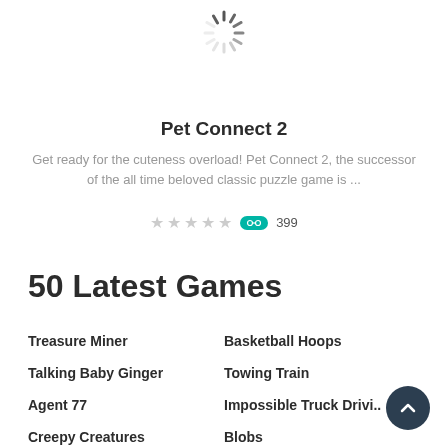[Figure (illustration): Loading spinner icon at top center of page]
Pet Connect 2
Get ready for the cuteness overload! Pet Connect 2, the successor of the all time beloved classic puzzle game is ...
★★★★★  399
50 Latest Games
Treasure Miner
Basketball Hoops
Talking Baby Ginger
Towing Train
Agent 77
Impossible Truck Drivi..
Creepy Creatures
Blobs
The Builders
Birds Kyodai